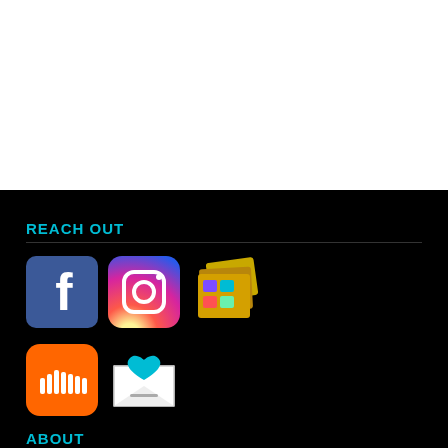REACH OUT
[Figure (illustration): Social media and contact icons: Facebook logo, Instagram logo, photo gallery icon, SoundCloud logo, and email/newsletter heart icon]
ABOUT